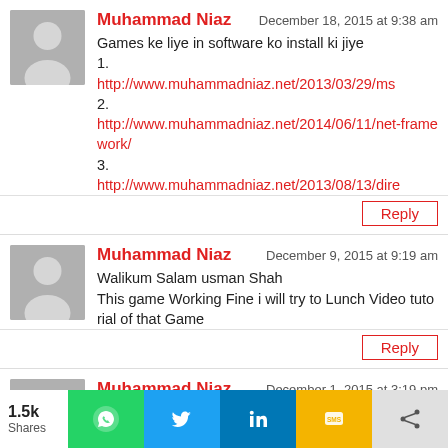[Figure (other): User avatar placeholder - grey silhouette icon]
Muhammad Niaz
December 18, 2015 at 9:38 am
Games ke liye in software ko install ki jiye
1.
http://www.muhammadniaz.net/2013/03/29/ms
2.
http://www.muhammadniaz.net/2014/06/11/net-framework/
3.
http://www.muhammadniaz.net/2013/08/13/dire
Reply
[Figure (other): User avatar placeholder - grey silhouette icon]
Muhammad Niaz
December 9, 2015 at 9:19 am
Walikum Salam usman Shah
This game Working Fine i will try to Lunch Video tutorial of that Game
Reply
[Figure (other): User avatar placeholder - grey silhouette icon]
Muhammad Niaz
December 1, 2015 at 3:19 pm
Game to Main ne Check ki hai ok Hai windows 10
1.5k Shares
[Figure (other): Social sharing bar with WhatsApp, Twitter, LinkedIn, SMS, and Share buttons]